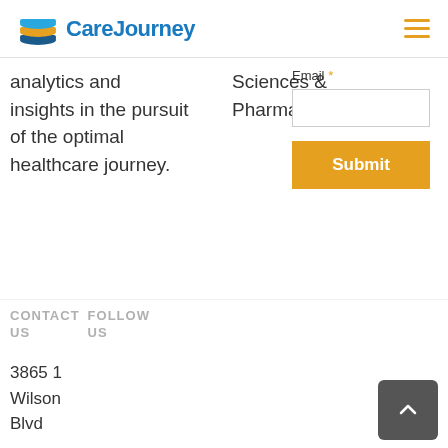CareJourney
analytics and insights in the pursuit of the optimal healthcare journey.
Sciences & Pharma
Email *
Submit
CONTACT US  FOLLOW US
3865 1 Wilson Blvd